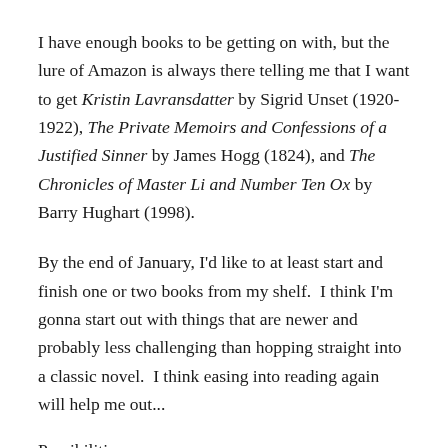I have enough books to be getting on with, but the lure of Amazon is always there telling me that I want to get Kristin Lavransdatter by Sigrid Unset (1920-1922), The Private Memoirs and Confessions of a Justified Sinner by James Hogg (1824), and The Chronicles of Master Li and Number Ten Ox by Barry Hughart (1998).
By the end of January, I'd like to at least start and finish one or two books from my shelf.  I think I'm gonna start out with things that are newer and probably less challenging than hopping straight into a classic novel.  I think easing into reading again will help me out...
Possibilities